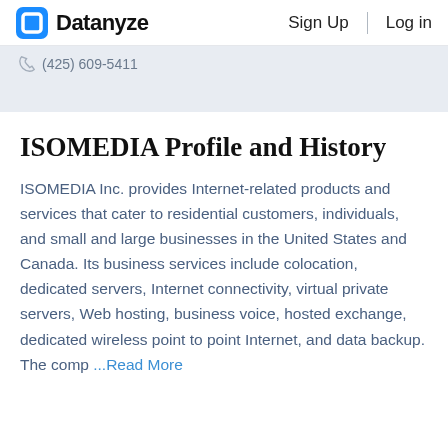Datanyze  Sign Up  Log in
(425) 609-5411
ISOMEDIA Profile and History
ISOMEDIA Inc. provides Internet-related products and services that cater to residential customers, individuals, and small and large businesses in the United States and Canada. Its business services include colocation, dedicated servers, Internet connectivity, virtual private servers, Web hosting, business voice, hosted exchange, dedicated wireless point to point Internet, and data backup. The comp ...Read More